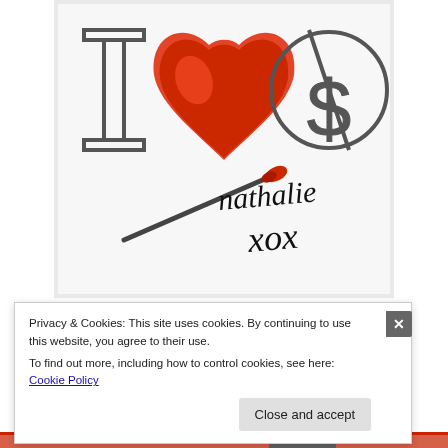[Figure (photo): A hand-painted artwork on white paper showing 'I [red heart] $' with 'nathalie xox' written in black marker below, with a red-tipped paintbrush resting on the paper.]
Privacy & Cookies: This site uses cookies. By continuing to use this website, you agree to their use.
To find out more, including how to control cookies, see here: Cookie Policy
Close and accept